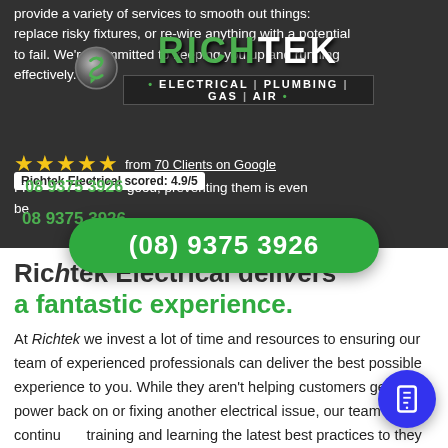provide a variety of services to smooth out things: replace risky fixtures, or re-wire anything with a potential to fail. We're committed to keeping you up and running effectively.
[Figure (logo): Richtek Electrical Plumbing Gas Air logo with green and silver globe icon]
★★★★★ from 70 Clients on Google
Richtek Electrical scored: 4.9/5
Fixing electrical issues is good; preventing them is even better.
08 9375 3926
(08) 9375 3926
Richtek Electrical delivers a fantastic experience.
At Richtek we invest a lot of time and resources to ensuring our team of experienced professionals can deliver the best possible experience to you. While they aren't helping customers get their power back on or fixing another electrical issue, our team is continually training and learning the latest best practices to ensure they continue to raise the bar in the electrical industry. With experience in industrial, commercial, and domestic